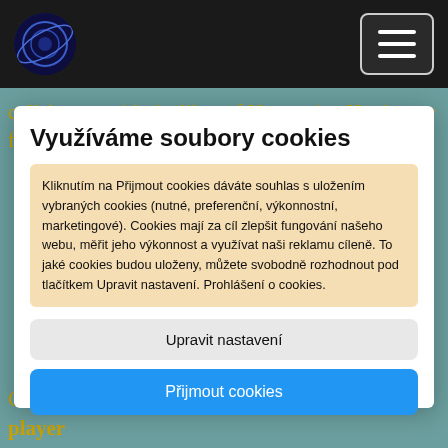Navigation bar with logo and hamburger menu
collaborate with the likes of Norwegian Hardanger fiddle
Využíváme soubory cookies
Kliknutím na Přijmout cookies dáváte souhlas s uložením vybraných cookies (nutné, preferenční, výkonnostní, marketingové). Cookies mají za cíl zlepšit fungování našeho webu, měřit jeho výkonnost a využívat naši reklamu cíleně. To jaké cookies budou uloženy, můžete svobodně rozhodnout pod tlačítkem Upravit nastavení. Prohlášení o cookies.
Upravit nastavení
Přijmout cookies
Causes and Life Of is that he's "a better piano player